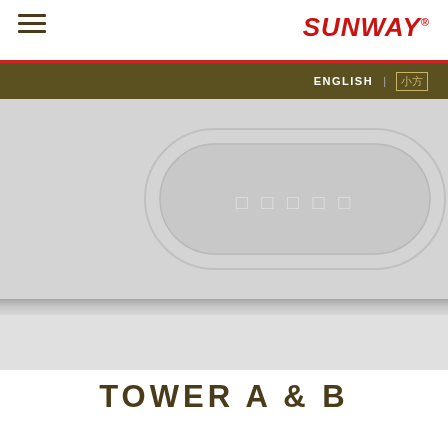SUNWAY®
[Figure (screenshot): Sunway website screenshot showing navigation header with hamburger menu, SUNWAY logo in red italic, dark olive navigation bar with ENGLISH language selector, a grey hero banner with an oval/stadium shaped decorative element containing unreadable placeholder text, and a shadow divider]
TOWER A & B